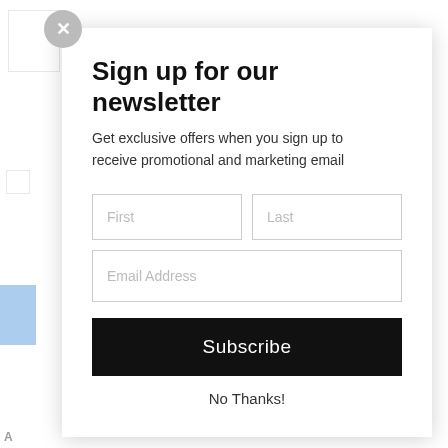Sign up for our newsletter
Get exclusive offers when you sign up to receive promotional and marketing email
[Figure (screenshot): Newsletter signup modal form with First/Last name fields, Email Address field, Subscribe button, and No Thanks link]
No Thanks!